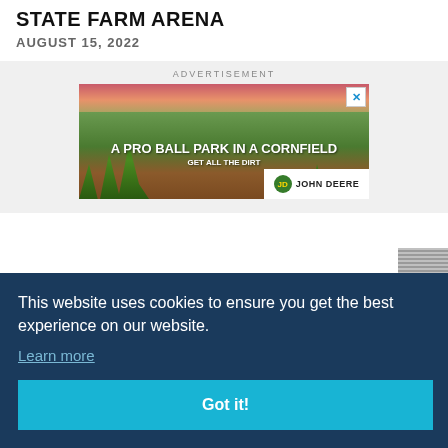State Farm Arena
AUGUST 15, 2022
ADVERTISEMENT
[Figure (photo): John Deere advertisement: A pro ball park in a cornfield. Get all the dirt. Shows a baseball field surrounded by corn with a pink/orange sunset sky.]
This website uses cookies to ensure you get the best experience on our website.
Learn more
Got it!